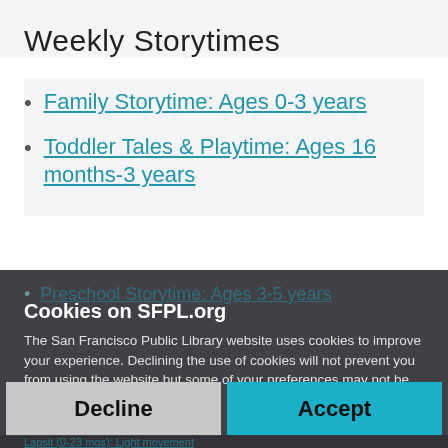Weekly Storytimes
Family Storytime: Ages 0-3 years
Toddler Tales & Playtime: Ages 16 months-3 years
Preschool Storytime: Ages 3-5 years
Cookies on SFPL.org
The San Francisco Public Library website uses cookies to improve your experience. Declining the use of cookies will not prevent you from using the website but some of your preferences may not be retained.
Decline
Accept
Lapsit (0-23 mos): Light movement